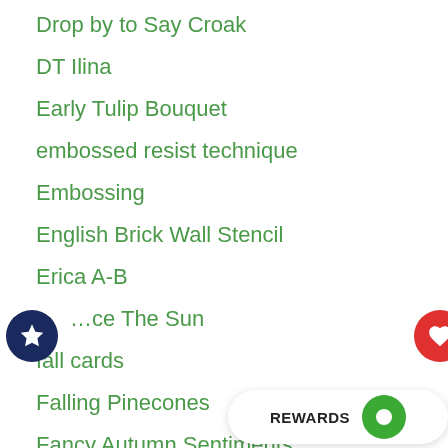Drop by to Say Croak
DT Ilina
Early Tulip Bouquet
embossed resist technique
Embossing
English Brick Wall Stencil
Erica A-B
Face The Sun
fall cards
Falling Pinecones
Fancy Autumn Sentiments
Fancy Christmas Sentiments
Fancy Congratulations Sentiments